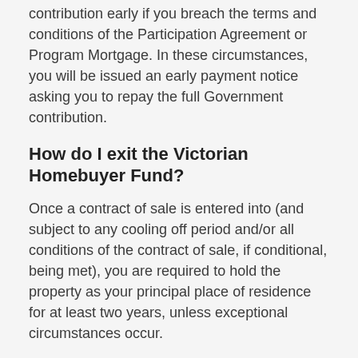You may be required to pay the financial contribution early if you breach the terms and conditions of the Participation Agreement or Program Mortgage. In these circumstances, you will be issued an early payment notice asking you to repay the full Government contribution.
How do I exit the Victorian Homebuyer Fund?
Once a contract of sale is entered into (and subject to any cooling off period and/or all conditions of the contract of sale, if conditional, being met), you are required to hold the property as your principal place of residence for at least two years, unless exceptional circumstances occur.
After this time, you can exit the program by